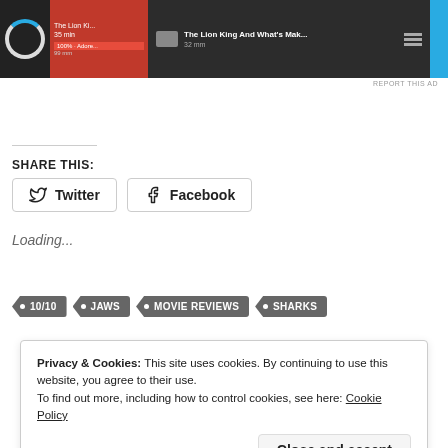[Figure (screenshot): Advertisement banner showing The Lion King streaming content with dark background, red content area, and blue accent strip. Shows spinner icon, movie title and metadata.]
REPORT THIS AD
SHARE THIS:
Twitter
Facebook
Loading...
10/10
JAWS
MOVIE REVIEWS
SHARKS
Privacy & Cookies: This site uses cookies. By continuing to use this website, you agree to their use.
To find out more, including how to control cookies, see here: Cookie Policy
Close and accept